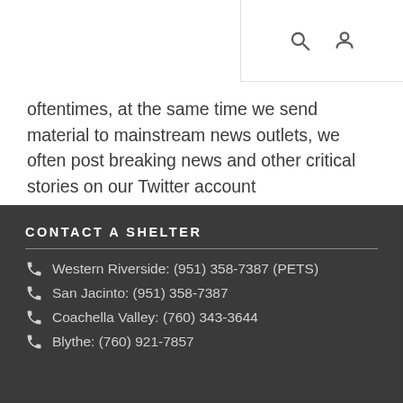search icon, user icon
oftentimes, at the same time we send material to mainstream news outlets, we often post breaking news and other critical stories on our Twitter account @helpinRIVcoPETS (note there is no G after “helpin”).
CONTACT A SHELTER
Western Riverside: (951) 358-7387 (PETS)
San Jacinto: (951) 358-7387
Coachella Valley: (760) 343-3644
Blythe: (760) 921-7857